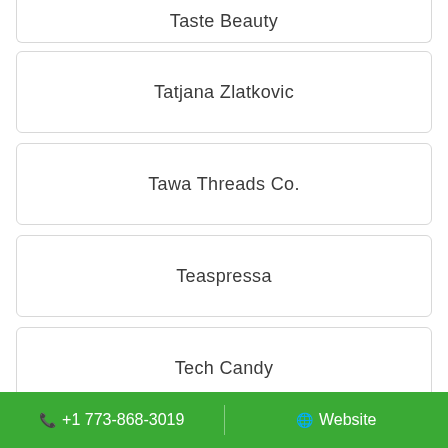Taste Beauty
Tatjana Zlatkovic
Tawa Threads Co.
Teaspressa
Tech Candy
📞 +1 773-868-3019   🌐 Website